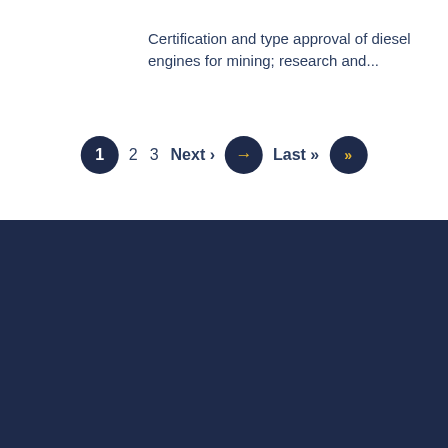Certification and type approval of diesel engines for mining; research and...
1  2  3  Next ›  Last »
The Research Facilities Navigator is an initiative of
[Figure (logo): Innovation Canada Foundation for Innovation / Fondation canadienne pour l'innovation logo in white on dark navy background]
[Figure (illustration): Twitter bird icon in white]
Contact the Navigator
Privacy notice